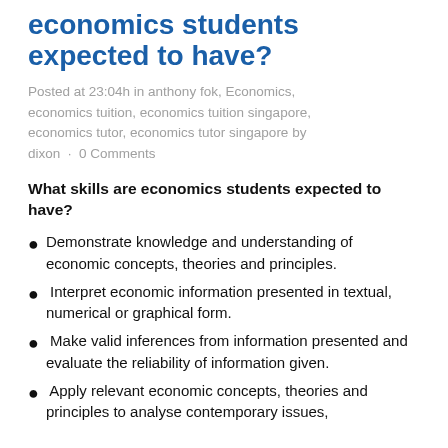economics students expected to have?
Posted at 23:04h in anthony fok, Economics, economics tuition, economics tuition singapore, economics tutor, economics tutor singapore by dixon · 0 Comments
What skills are economics students expected to have?
Demonstrate knowledge and understanding of economic concepts, theories and principles.
Interpret economic information presented in textual, numerical or graphical form.
Make valid inferences from information presented and evaluate the reliability of information given.
Apply relevant economic concepts, theories and principles to analyse contemporary issues,